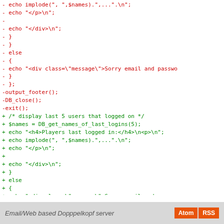Code diff showing deleted (red) and added (green) PHP lines including echo statements, else blocks, output_footer(), DB_close(), exit(), and a no-newline-at-end-of-file marker.
Email/Web based Dopppelkopf server  Atom  RSS